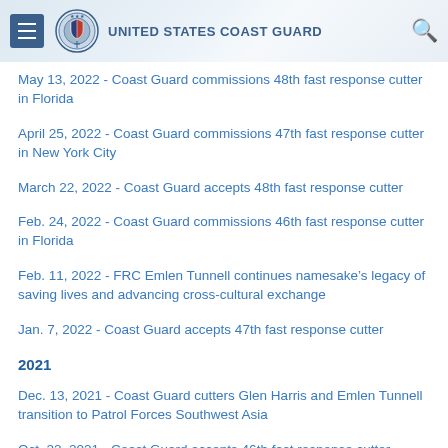United States Coast Guard
May 13, 2022 - Coast Guard commissions 48th fast response cutter in Florida
April 25, 2022 - Coast Guard commissions 47th fast response cutter in New York City
March 22, 2022 - Coast Guard accepts 48th fast response cutter
Feb. 24, 2022 - Coast Guard commissions 46th fast response cutter in Florida
Feb. 11, 2022 - FRC Emlen Tunnell continues namesake’s legacy of saving lives and advancing cross-cultural exchange
Jan. 7, 2022 - Coast Guard accepts 47th fast response cutter
2021
Dec. 13, 2021 - Coast Guard cutters Glen Harris and Emlen Tunnell transition to Patrol Forces Southwest Asia
Oct. 22, 2021 - Coast Guard accepts 46th fast response cutter